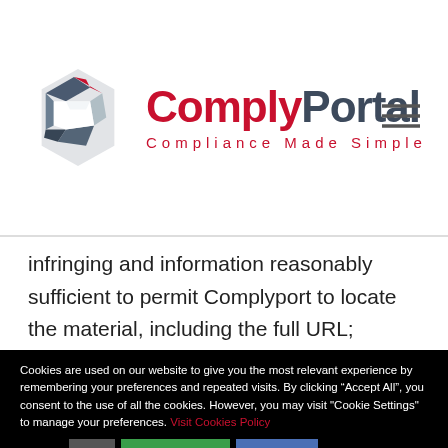[Figure (logo): ComplyPortal logo with stylized dark blue/red hexagon C shape, text 'ComplyPortal' with 'Comply' in red and 'Portal' in dark blue, subtitle 'Compliance Made Simple' in red with wide letter-spacing, and hamburger menu icon top right]
infringing and information reasonably sufficient to permit Complyport to locate the material, including the full URL;
Cookies are used on our website to give you the most relevant experience by remembering your preferences and repeated visits. By clicking “Accept All”, you consent to the use of all the cookies. However, you may visit "Cookie Settings" to manage your preferences. Visit Cookies Policy
Settings  ACCEPT ALL  REJECT